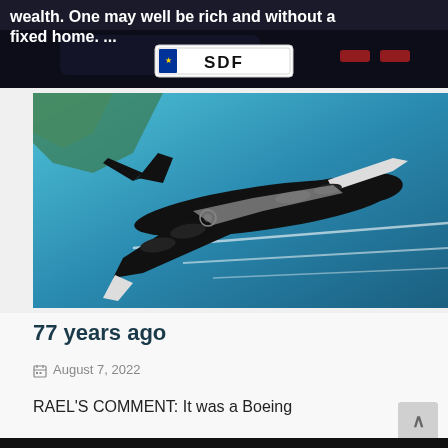[Figure (photo): Top portion of a car (dark/black) with a white license plate reading 'SDF'. Overlaid white text reads: 'wealth. One may well be rich and without a fixed home. ...']
[Figure (illustration): Illustrated/animated image of a large WWII-era bomber aircraft (resembling a B-29 Superfortress) flying over a blue and teal stylized landscape. The aircraft is rendered in black and white against a blue background with white streaks suggesting speed.]
77 years ago
August 7, 2022
RAEL'S COMMENT:  It was a Boeing